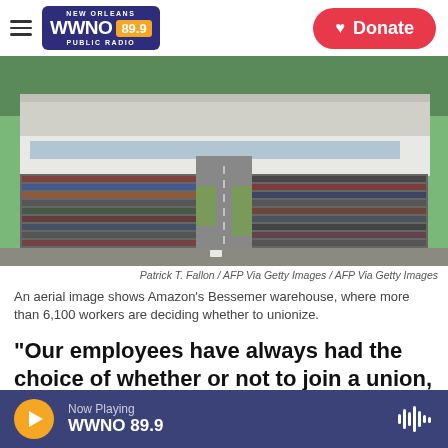WWNO 89.9 NEW ORLEANS PUBLIC RADIO — Donate
[Figure (photo): Aerial view of Amazon's Bessemer warehouse, a large white building with a packed parking lot in front, surrounded by trees and roads.]
Patrick T. Fallon / AFP Via Getty Images / AFP Via Getty Images
An aerial image shows Amazon's Bessemer warehouse, where more than 6,100 workers are deciding whether to unionize.
"Our employees have always had the choice of whether or not to join a union, and our focus
Now Playing WWNO 89.9